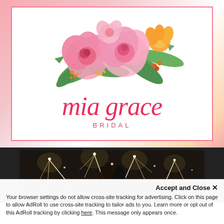[Figure (logo): Mia Grace Bridal logo with watercolor floral arrangement (pink peonies, orange flowers, green leaves) above the script brand name 'mia grace' in red cursive, with 'BRIDAL' in spaced caps below, all inside a white rectangle with pink border on a pink watercolor background]
[Figure (photo): Wedding photo of a bride and groom walking through a sparkler tunnel surrounded by guests holding sparklers at night]
Accept and Close ✕
Your browser settings do not allow cross-site tracking for advertising. Click on this page to allow AdRoll to use cross-site tracking to tailor ads to you. Learn more or opt out of this AdRoll tracking by clicking here. This message only appears once.